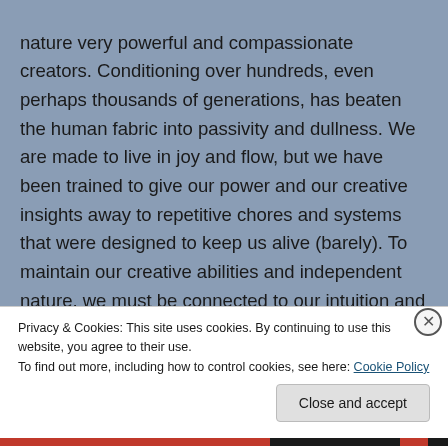nature very powerful and compassionate creators. Conditioning over hundreds, even perhaps thousands of generations, has beaten the human fabric into passivity and dullness. We are made to live in joy and flow, but we have been trained to give our power and our creative insights away to repetitive chores and systems that were designed to keep us alive (barely). To maintain our creative abilities and independent nature, we must be connected to our intuition and soul aspect at all times.
Privacy & Cookies: This site uses cookies. By continuing to use this website, you agree to their use.
To find out more, including how to control cookies, see here: Cookie Policy
Close and accept